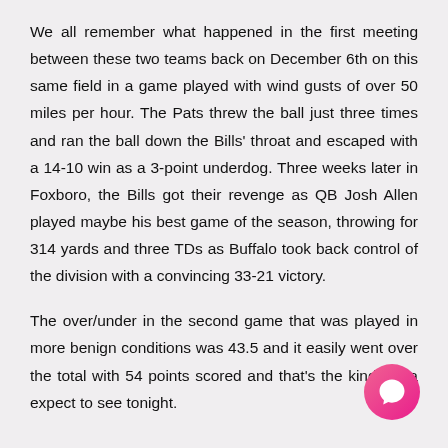We all remember what happened in the first meeting between these two teams back on December 6th on this same field in a game played with wind gusts of over 50 miles per hour. The Pats threw the ball just three times and ran the ball down the Bills' throat and escaped with a 14-10 win as a 3-point underdog. Three weeks later in Foxboro, the Bills got their revenge as QB Josh Allen played maybe his best game of the season, throwing for 314 yards and three TDs as Buffalo took back control of the division with a convincing 33-21 victory.
The over/under in the second game that was played in more benign conditions was 43.5 and it easily went over the total with 54 points scored and that's the kind of ga expect to see tonight.